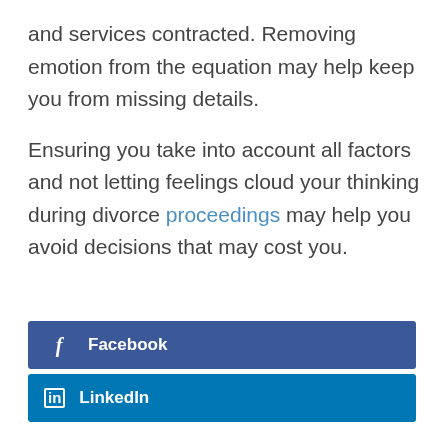and services contracted. Removing emotion from the equation may help keep you from missing details.
Ensuring you take into account all factors and not letting feelings cloud your thinking during divorce proceedings may help you avoid decisions that may cost you.
Facebook
LinkedIn